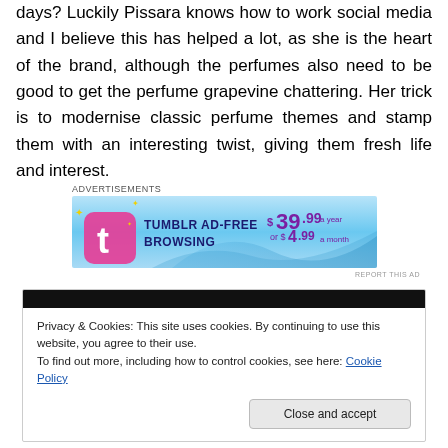days? Luckily Pissara knows how to work social media and I believe this has helped a lot, as she is the heart of the brand, although the perfumes also need to be good to get the perfume grapevine chattering. Her trick is to modernise classic perfume themes and stamp them with an interesting twist, giving them fresh life and interest.
Advertisements
[Figure (screenshot): Tumblr Ad-Free Browsing banner advertisement. $39.99 a year or $4.99 a month.]
REPORT THIS AD
Privacy & Cookies: This site uses cookies. By continuing to use this website, you agree to their use.
To find out more, including how to control cookies, see here: Cookie Policy
Close and accept